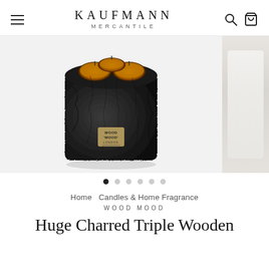KAUFMANN MERCANTILE
[Figure (photo): A charred black triple wooden candle holder with three amber wax wells, textured bark-like exterior, gold Wood Mood London label on front, on white background. Partial second product image visible on right edge.]
● ○ ○ ○ ○ ○
Home  Candles & Home Fragrance
WOOD MOOD
Huge Charred Triple Wooden